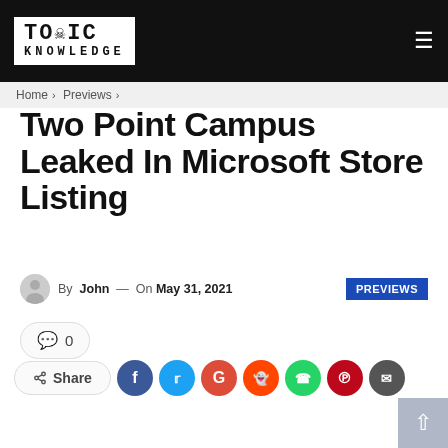Toxic Knowledge — Home > Previews >
Two Point Campus Leaked In Microsoft Store Listing
By John — On May 31, 2021  PREVIEWS
💬 0
Share  (social share buttons: Facebook, Twitter, Google, Reddit, WhatsApp, Pinterest, Email)